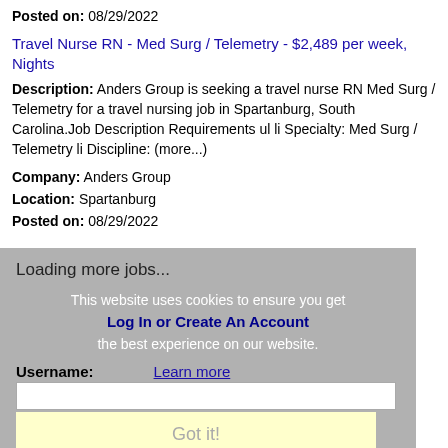Posted on: 08/29/2022
Travel Nurse RN - Med Surg / Telemetry - $2,489 per week, Nights
Description: Anders Group is seeking a travel nurse RN Med Surg / Telemetry for a travel nursing job in Spartanburg, South Carolina.Job Description Requirements ul li Specialty: Med Surg / Telemetry li Discipline: (more...)
Company: Anders Group
Location: Spartanburg
Posted on: 08/29/2022
Loading more jobs...
This website uses cookies to ensure you get the best experience on our website.
Log In or Create An Account
Learn more
Username:
Got it!
Password: